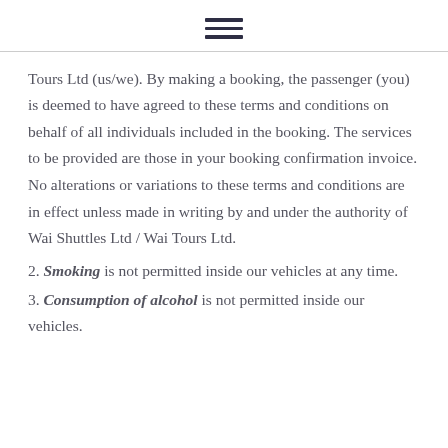≡
Tours Ltd (us/we). By making a booking, the passenger (you) is deemed to have agreed to these terms and conditions on behalf of all individuals included in the booking. The services to be provided are those in your booking confirmation invoice. No alterations or variations to these terms and conditions are in effect unless made in writing by and under the authority of Wai Shuttles Ltd / Wai Tours Ltd.
2. Smoking is not permitted inside our vehicles at any time.
3. Consumption of alcohol is not permitted inside our vehicles.